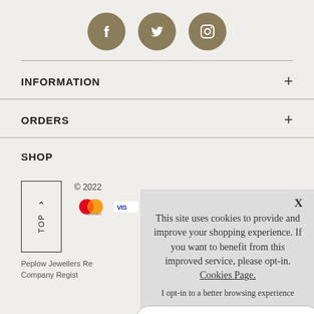[Figure (illustration): Three social media icons (Facebook, Twitter, Instagram) as white icons on olive/tan circular backgrounds]
INFORMATION +
ORDERS +
SHOP
[Figure (illustration): Back to top button (upward arrow with TOP text), Mastercard logo, Visa logo partial, copyright 2022]
Peplow Jewellers Re
Company Regist
[Figure (infographic): Cookie consent overlay with text: This site uses cookies to provide and improve your shopping experience. If you want to benefit from this improved service, please opt-in. Cookies Page. I opt-in to a better browsing experience. ACCEPT COOKIES button.]